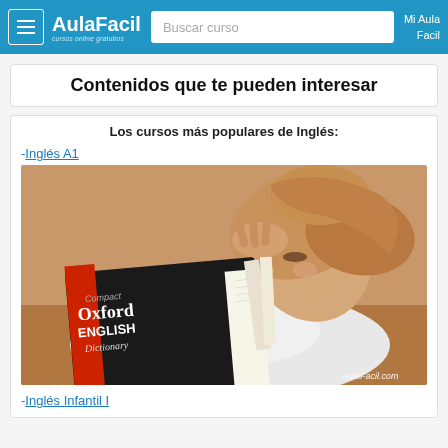AulaFacil - cursos online gratuitos | Buscar curso | Mi Aula Facil
Contenidos que te pueden interesar
Los cursos más populares de Inglés:
-Inglés A1
[Figure (photo): Girl lying down reading a Compact Oxford English Dictionary. Watermark: AulaFacil.com]
-Inglés Infantil I